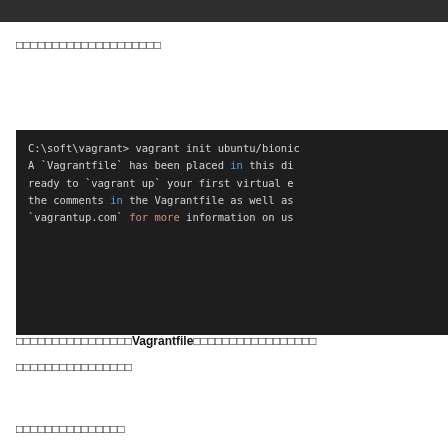□□□□□□□□□□□□□□□□□□□□
[Figure (screenshot): Terminal/command prompt window showing vagrant init command output with colored keywords 'in' and 'for more' highlighted in blue and orange respectively]
□□□□□□□□□□□□□□□□Vagrantfile□□□□□□□□□□□□□□□□□
□□□□□□□□□□□□□□□□
□□□□□□□□□□□□□□□